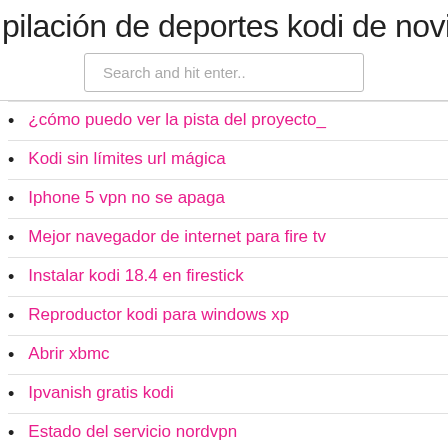pilación de deportes kodi de noviemb
Search and hit enter..
¿cómo puedo ver la pista del proyecto_
Kodi sin límites url mágica
Iphone 5 vpn no se apaga
Mejor navegador de internet para fire tv
Instalar kodi 18.4 en firestick
Reproductor kodi para windows xp
Abrir xbmc
Ipvanish gratis kodi
Estado del servicio nordvpn
Xbox one red wifi no aparece